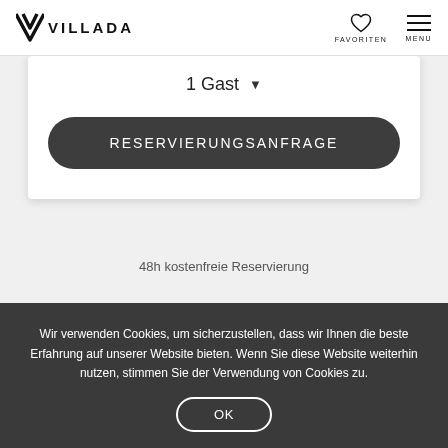VILLADA — FAVORITEN — MENU
1 Gast
RESERVIERUNGSANFRAGE
48h kostenfreie Reservierung
Wir verwenden Cookies, um sicherzustellen, dass wir Ihnen die beste Erfahrung auf unserer Website bieten. Wenn Sie diese Website weiterhin nutzen, stimmen Sie der Verwendung von Cookies zu.
OK